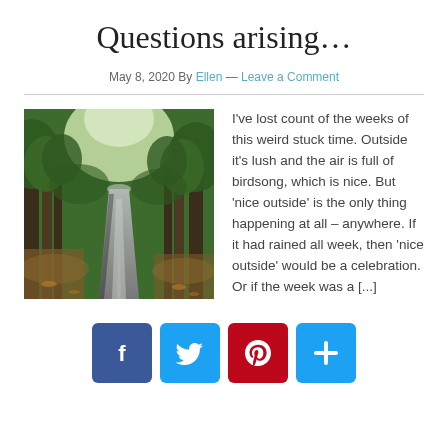Questions arising…
May 8, 2020 By Ellen — Leave a Comment
[Figure (photo): A winding country road flanked by green trees and fallen leaves, with light filtering through the canopy.]
I've lost count of the weeks of this weird stuck time. Outside it's lush and the air is full of birdsong, which is nice. But 'nice outside' is the only thing happening at all – anywhere. If it had rained all week, then 'nice outside' would be a celebration. Or if the week was a [...]
[Figure (infographic): Social sharing buttons: Facebook, Twitter, Pinterest, and a plus/share button.]